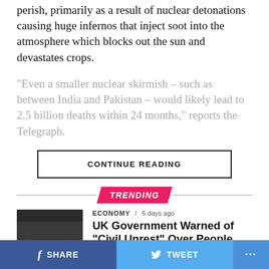perish, primarily as a result of nuclear detonations causing huge infernos that inject soot into the atmosphere which blocks out the sun and devastates crops.
“Even a smaller nuclear skirmish – such as between India and Pakistan – would likely lead to 2.5 billion deaths within 24 months,” reports the Telegraph.
CONTINUE READING
TRENDING
ECONOMY / 6 days ago
UK Government Warned of “Civil Unrest” Over People Being Unable to Pay Energy Bills
f SHARE   🐦 TWEET   …